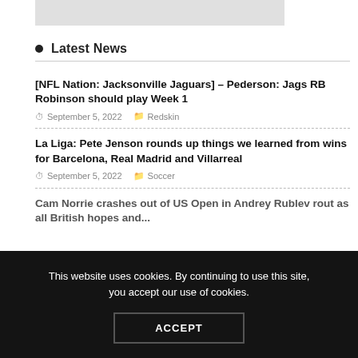[Figure (other): Gray placeholder image at the top of the page]
Latest News
[NFL Nation: Jacksonville Jaguars] – Pederson: Jags RB Robinson should play Week 1
September 5, 2022  Redskin
La Liga: Pete Jenson rounds up things we learned from wins for Barcelona, Real Madrid and Villarreal
September 5, 2022  Soccer
Cam Norrie crashes out of US Open in Andrey Rublev rout as all British hopes and...
This website uses cookies. By continuing to use this site, you accept our use of cookies.
ACCEPT